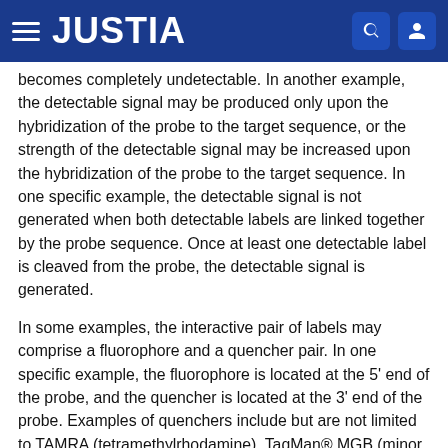JUSTIA
becomes completely undetectable. In another example, the detectable signal may be produced only upon the hybridization of the probe to the target sequence, or the strength of the detectable signal may be increased upon the hybridization of the probe to the target sequence. In one specific example, the detectable signal is not generated when both detectable labels are linked together by the probe sequence. Once at least one detectable label is cleaved from the probe, the detectable signal is generated.
In some examples, the interactive pair of labels may comprise a fluorophore and a quencher pair. In one specific example, the fluorophore is located at the 5' end of the probe, and the quencher is located at the 3' end of the probe. Examples of quenchers include but are not limited to TAMRA (tetramethylrhodamine), TaqMan® MGB (minor groove binder) and BHQ™ (Black Hole